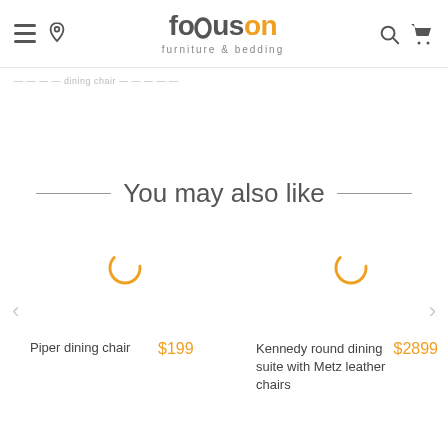[Figure (logo): Focus On Furniture and Bedding logo with hamburger menu, location pin, search, and cart icons in header]
... dining chair...
You may also like
[Figure (other): Loading spinner (orange arc) above Piper dining chair product]
Piper dining chair
$199
[Figure (other): Loading spinner (orange arc) above Kennedy round dining suite product]
Kennedy round dining suite with Metz leather chairs
$2899